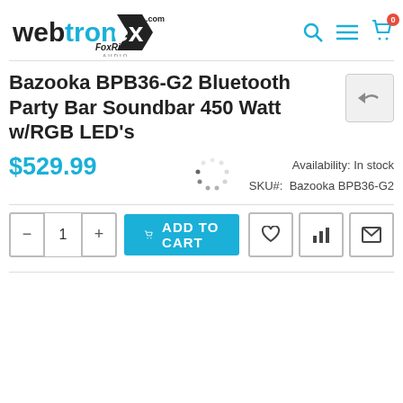[Figure (logo): Webtronex / FoxRiver Audio logo with navigation icons (search, menu, cart with badge 0)]
Bazooka BPB36-G2 Bluetooth Party Bar Soundbar 450 Watt w/RGB LED's
Availability: In stock
SKU#: Bazooka BPB36-G2
$529.99
[Figure (other): Loading spinner dots]
1  ADD TO CART
[Figure (other): Action icons: heart (wishlist), bar chart (compare), envelope (email)]